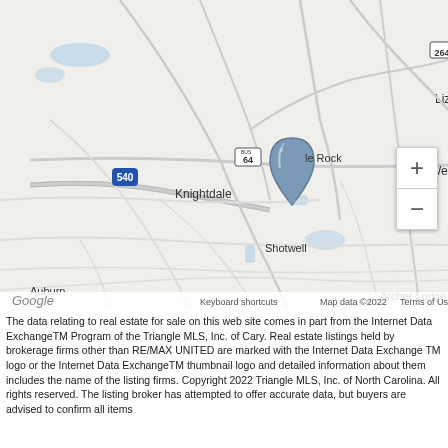[Figure (map): Google Maps view showing Knightdale, Wendell, Shotwell, Auburn, Archer Lodge, Hocutts, Zebulon, and Lizard Lick areas in North Carolina. A blue teardrop map pin is placed in the center of the map near Wendell/Knightdale area. Roads including BUS 64, US 264, US 64, US 96, US 231, and I-540 are visible. Map credit bar shows keyboard shortcuts, Map data ©2022, and Terms of Use. Google logo appears bottom left. Zoom +/- controls appear bottom right.]
The data relating to real estate for sale on this web site comes in part from the Internet Data ExchangeTM Program of the Triangle MLS, Inc. of Cary. Real estate listings held by brokerage firms other than RE/MAX UNITED are marked with the Internet Data Exchange TM logo or the Internet Data ExchangeTM thumbnail logo and detailed information about them includes the name of the listing firms. Copyright 2022 Triangle MLS, Inc. of North Carolina. All rights reserved. The listing broker has attempted to offer accurate data, but buyers are advised to confirm all items